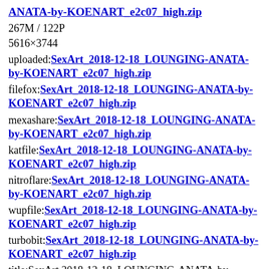ANATA-by-KOENART_e2c07_high.zip
267M / 122P
5616×3744
uploaded:SexArt_2018-12-18_LOUNGING-ANATA-by-KOENART_e2c07_high.zip
filefox:SexArt_2018-12-18_LOUNGING-ANATA-by-KOENART_e2c07_high.zip
mexashare:SexArt_2018-12-18_LOUNGING-ANATA-by-KOENART_e2c07_high.zip
katfile:SexArt_2018-12-18_LOUNGING-ANATA-by-KOENART_e2c07_high.zip
nitroflare:SexArt_2018-12-18_LOUNGING-ANATA-by-KOENART_e2c07_high.zip
wupfile:SexArt_2018-12-18_LOUNGING-ANATA-by-KOENART_e2c07_high.zip
turbobit:SexArt_2018-12-18_LOUNGING-ANATA-by-KOENART_e2c07_high.zip
title:SexArt 2018-12-18_LOUNGING-ANATA-by-